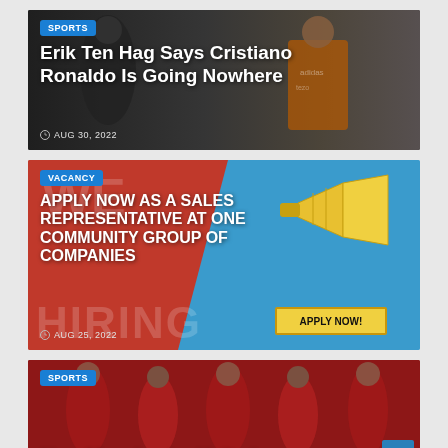[Figure (photo): Sports news card showing Cristiano Ronaldo with teammates in a stadium setting, dark background]
Erik Ten Hag Says Cristiano Ronaldo Is Going Nowhere
AUG 30, 2022
[Figure (photo): Vacancy advertisement banner with red and blue background, megaphone graphic, text WE ARE HIRING]
APPLY NOW AS A SALES REPRESENTATIVE AT ONE COMMUNITY GROUP OF COMPANIES
AUG 25, 2022
[Figure (photo): Sports news card showing Manchester United players in red jerseys celebrating on the pitch]
How Manchester United